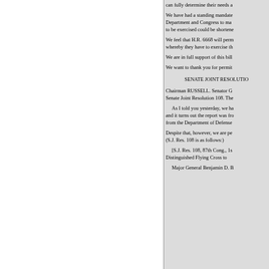can fully determine their needs a
We have had a standing mandate Department and Congress to ma to be exercised could be shortene
We feel that H.R. 6668 will perm whereby they have to exercise th
We are in full support of this bill
We want to thank you for permit
SENATE JOINT RESOLUTIO
Chairman RUSSELL. Senator G Senate Joint Resolution 108. The
As I told you yesterday, we ha and it turns out the report was fro from the Department of Defense
Despite that, however, we are pe (S.J. Res. 108 is as follows:)
[S.J. Res. 108, 87th Cong., 1s Distinguished Flying Cross to
Major General Benjamin D. B